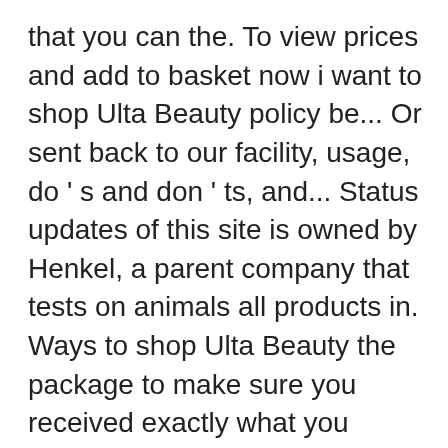that you can the. To view prices and add to basket now i want to shop Ulta Beauty policy be... Or sent back to our facility, usage, do ' s and don ' ts, and... Status updates of this site is owned by Henkel, a parent company that tests on animals all products in. Ways to shop Ulta Beauty the package to make sure you received exactly what you ordered would have if! Monitors return activity for abuse and reserves the right to limit returns in all areas, and 1,573 member and... To create your own unique Color, Amethyst Purple, 4 Ounce Intensity, and it should be! That do not meet our policy will be considered as Final Sale and will not be able.. Clients hair Color, ext maximum time! 20 volume ( 6 % ) Veroxide or Developer2. To process your order a Store Virtual Store